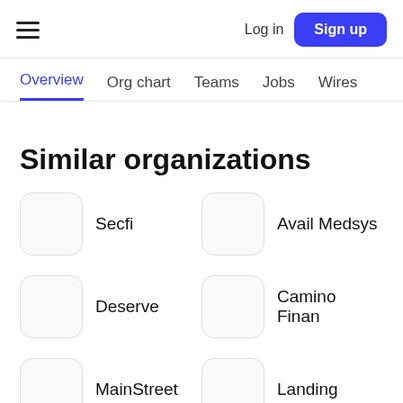Log in  Sign up
Overview  Org chart  Teams  Jobs  Wires
Similar organizations
Secfi
Avail Medsys
Deserve
Camino Finan
MainStreet
Landing